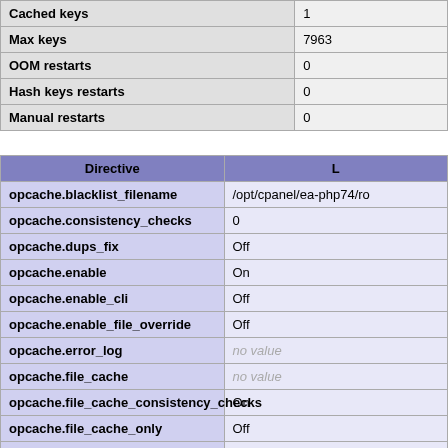|  |  |
| --- | --- |
| Cached keys | 1 |
| Max keys | 7963 |
| OOM restarts | 0 |
| Hash keys restarts | 0 |
| Manual restarts | 0 |
| Directive | L |
| --- | --- |
| opcache.blacklist_filename | /opt/cpanel/ea-php74/ro |
| opcache.consistency_checks | 0 |
| opcache.dups_fix | Off |
| opcache.enable | On |
| opcache.enable_cli | Off |
| opcache.enable_file_override | Off |
| opcache.error_log | no value |
| opcache.file_cache | no value |
| opcache.file_cache_consistency_checks | On |
| opcache.file_cache_only | Off |
| opcache.file_update_protection | 2 |
| opcache.force_restart_timeout | 180 |